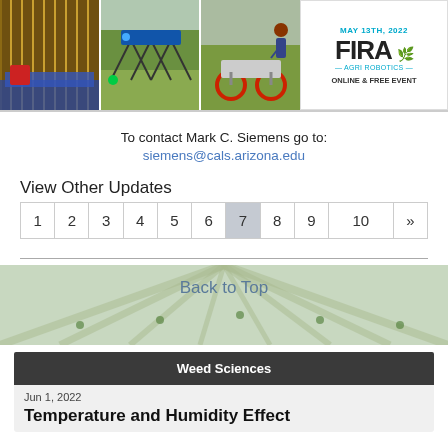[Figure (photo): Three photos of agricultural robots/machinery in fields side by side, with a FIRA May 13th 2022 Online & Free Event logo block on the right]
To contact Mark C. Siemens go to:
siemens@cals.arizona.edu
View Other Updates
| 1 | 2 | 3 | 4 | 5 | 6 | 7 | 8 | 9 | 10 | » |
| --- | --- | --- | --- | --- | --- | --- | --- | --- | --- | --- |
Back to Top
Weed Sciences
Jun 1, 2022
Temperature and Humidity Effect